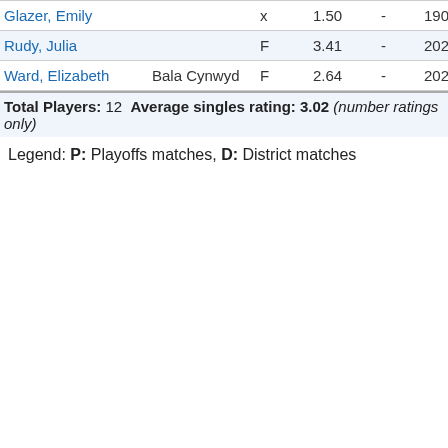| Name | Club | Type | Rating |  | Num |
| --- | --- | --- | --- | --- | --- |
| Glazer, Emily |  | x | 1.50 | - | 190 |
| Rudy, Julia |  | F | 3.41 | - | 202 |
| Ward, Elizabeth | Bala Cynwyd | F | 2.64 | - | 202 |
Total Players: 12  Average singles rating: 3.02 (number ratings only)
Legend: P: Playoffs matches, D: District matches